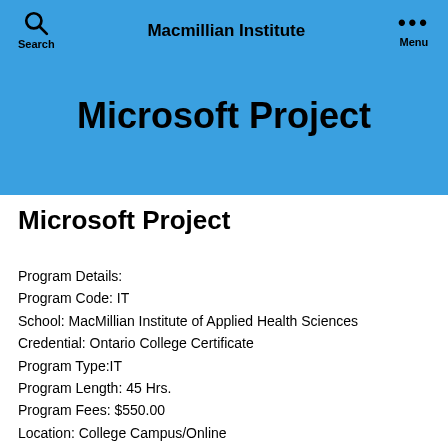Search   Macmillian Institute   Menu
Microsoft Project
Microsoft Project
Program Details:
Program Code: IT
School: MacMillian Institute of Applied Health Sciences
Credential: Ontario College Certificate
Program Type:IT
Program Length: 45 Hrs.
Program Fees: $550.00
Location: College Campus/Online